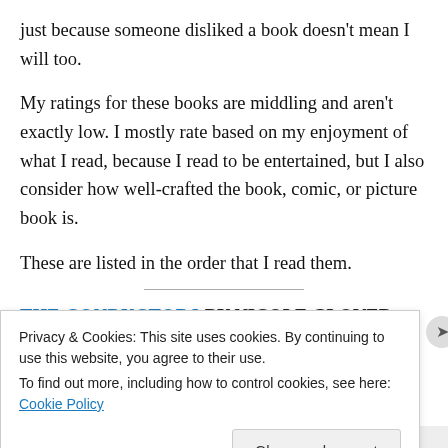just because someone disliked a book doesn't mean I will too.
My ratings for these books are middling and aren't exactly low. I mostly rate based on my enjoyment of what I read, because I read to be entertained, but I also consider how well-crafted the book, comic, or picture book is.
These are listed in the order that I read them.
THE CONDUCTORS BY NICOLE GLOVER ★★☆☆☆
Privacy & Cookies: This site uses cookies. By continuing to use this website, you agree to their use. To find out more, including how to control cookies, see here: Cookie Policy
Close and accept